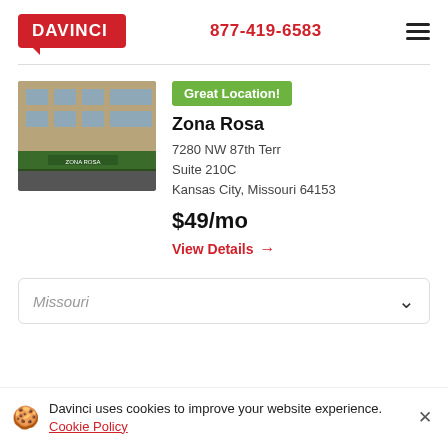[Figure (logo): DaVinci logo - red rectangle with white bold text DAVINCI and speech bubble tail]
877-419-6583
[Figure (illustration): Hamburger menu icon - three horizontal lines]
[Figure (photo): Photo of building facade with green awning, multi-story windows]
Great Location!
Zona Rosa
7280 NW 87th Terr
Suite 210C
Kansas City, Missouri 64153
$49/mo
View Details →
Missouri
Davinci uses cookies to improve your website experience. Cookie Policy